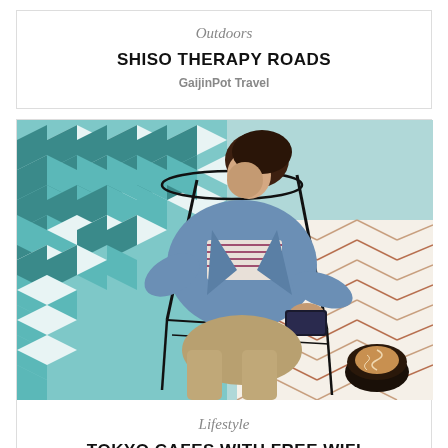Outdoors
SHISO THERAPY ROADS
GaijinPot Travel
[Figure (photo): Overhead view of a young woman sitting on a black wire chair in a colorful cafe with geometric tiled floor, wearing a denim jacket, looking at her smartphone, with a latte on the table beside her.]
Lifestyle
TOKYO CAFES WITH FREE WIFI